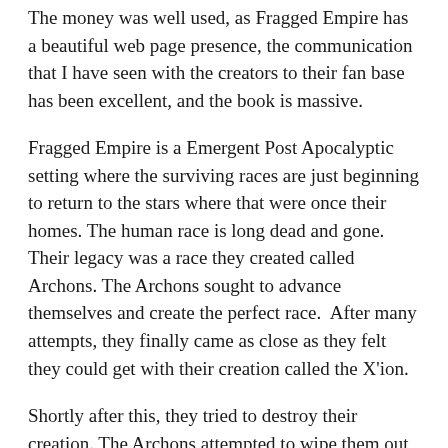The money was well used, as Fragged Empire has a beautiful web page presence, the communication that I have seen with the creators to their fan base has been excellent, and the book is massive.
Fragged Empire is a Emergent Post Apocalyptic setting where the surviving races are just beginning to return to the stars where that were once their homes. The human race is long dead and gone. Their legacy was a race they created called Archons. The Archons sought to advance themselves and create the perfect race.  After many attempts, they finally came as close as they felt they could get with their creation called the X'ion.
Shortly after this, they tried to destroy their creation. The Archons attempted to wipe them out but one managed to get away. The sole survivor of the perfect race fled into space. Years later it returned to wipe out their creators and left the remaining races in ruin.